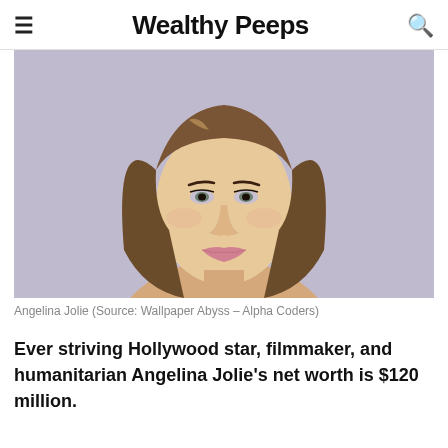Wealthy Peeps
[Figure (photo): Portrait photo of Angelina Jolie against a light purple background, showing her face and shoulders with brown hair.]
Angelina Jolie (Source: Wallpaper Abyss – Alpha Coders)
Ever striving Hollywood star, filmmaker, and humanitarian Angelina Jolie's net worth is $120 million.